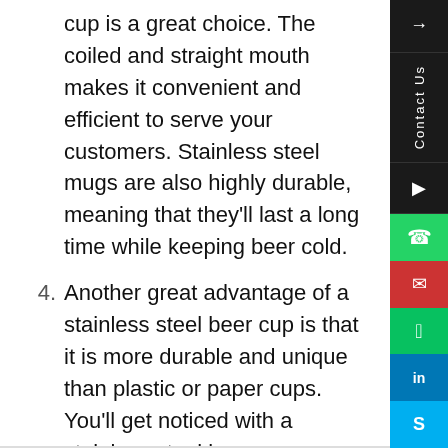cup is a great choice. The coiled and straight mouth makes it convenient and efficient to serve your customers. Stainless steel mugs are also highly durable, meaning that they'll last a long time while keeping beer cold.
4. Another great advantage of a stainless steel beer cup is that it is more durable and unique than plastic or paper cups. You'll get noticed with a stainless steel beer cup compared to other types of beverage containers. And since most people don't keep plastic or paper cups for long, it's vital to stand out from the crowd.